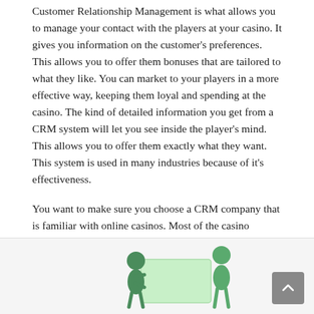Customer Relationship Management is what allows you to manage your contact with the players at your casino. It gives you information on the customer's preferences. This allows you to offer them bonuses that are tailored to what they like. You can market to your players in a more effective way, keeping them loyal and spending at the casino. The kind of detailed information you get from a CRM system will let you see inside the player's mind. This allows you to offer them exactly what they want. This system is used in many industries because of it's effectiveness.
You want to make sure you choose a CRM company that is familiar with online casinos. Most of the casino software providers offer CRM as part of their package. It comes in the white label casino software and is also an option when using turnkey software solutions.
Affiliate Program
[Figure (illustration): An illustration showing two cartoon figures, one holding a green sign/board, representing an affiliate program concept. Background is light gray/white.]